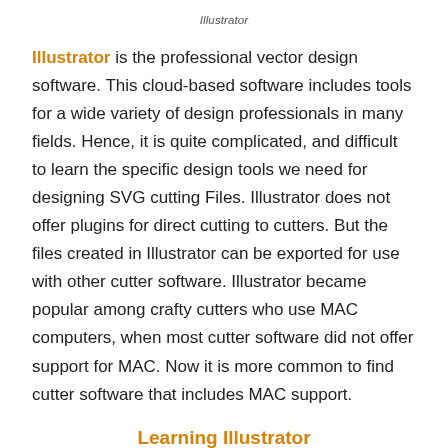Illustrator
Illustrator is the professional vector design software. This cloud-based software includes tools for a wide variety of design professionals in many fields. Hence, it is quite complicated, and difficult to learn the specific design tools we need for designing SVG cutting Files. Illustrator does not offer plugins for direct cutting to cutters. But the files created in Illustrator can be exported for use with other cutter software. Illustrator became popular among crafty cutters who use MAC computers, when most cutter software did not offer support for MAC. Now it is more common to find cutter software that includes MAC support.
Learning Illustrator